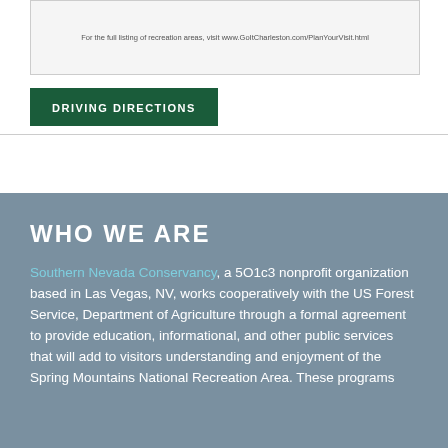[Figure (screenshot): Screenshot of a website showing a listing of recreation areas with URL www.GoItCharleston.com/PlanYourVisit.html]
DRIVING DIRECTIONS
WHO WE ARE
Southern Nevada Conservancy, a 5O1c3 nonprofit organization based in Las Vegas, NV, works cooperatively with the US Forest Service, Department of Agriculture through a formal agreement to provide education, informational, and other public services that will add to visitors understanding and enjoyment of the Spring Mountains National Recreation Area. These programs